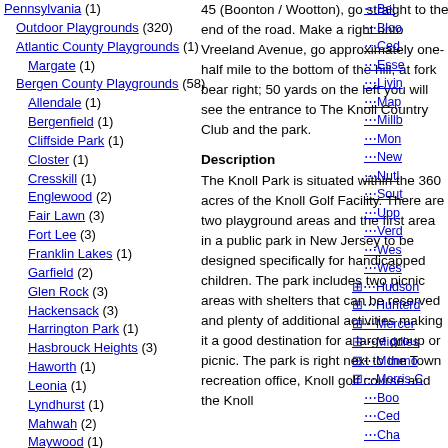Pennsylvania (1)
Outdoor Playgrounds (320)
Atlantic County Playgrounds (1)
Margate (1)
Bergen County Playgrounds (58)
Allendale (1)
Bergenfield (1)
Cliffside Park (1)
Closter (1)
Cresskill (1)
Englewood (2)
Fair Lawn (3)
Fort Lee (3)
Franklin Lakes (1)
Garfield (2)
Glen Rock (3)
Hackensack (3)
Harrington Park (1)
Hasbrouck Heights (3)
Haworth (1)
Leonia (1)
Lyndhurst (1)
Mahwah (2)
Maywood (1)
Norwood (1)
45 (Boonton / Wootton), go straight to the end of the road. Make a right onto Vreeland Avenue, go approximately one-half mile to the bottom of the hill, at fork bear right; 50 yards on the left you will see the entrance to The Knoll Country Club and the park.
Description
The Knoll Park is situated within the 360 acres of the Knoll Golf Facility. There are two playground areas and the first area in a public park in New Jersey to be designed specifically for handicapped children. The park includes two picnic areas with shelters that can be reserved and plenty of additional activities making it a good destination for a large group or picnic. The park is right next to the Town recreation office, Knoll golf course and the Knoll
Bel...
Bloo...
Ced...
Esse...
Livin...
Map...
Millb...
Mon...
New...
Nutl...
Sout...
Upp...
Verd...
Wes...
Wes...
Hudson...
Hunterd...
Mercer...
Middles...
Monmo...
Morris C...
Boo...
Ced...
Cha...
Che...